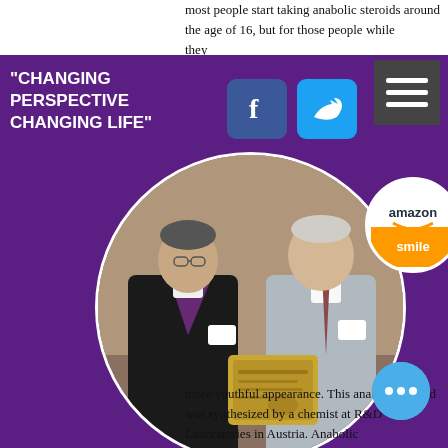most people start taking anabolic steroids around the age of 16, but for those people ... while ... they ... eroids ... ut they ... are ... ss ... zolol
[Figure (photo): Purple sidebar panel with social media icons (Facebook, Twitter), hamburger menu, Amazon Smile badge, circular photo of two men in formal attire holding a plaque award, and caption text about Foundation President awarding Privilege Award to Mr. Robert A. Austin representing Rebuilding Together, Arlington/Fairfax/Falls Church.]
Foundation President awards prestigious Privilege Award to Mr. Robert A. Austin representing Rebuilding Together, Arlington/Fairfax/Falls Church.
more youthful appearance. This anabolic steroid was synthesized by a chemist at R&D Laboratories in Austria. Anabolic
[Figure (other): Blue circular chat/more options button with three dots]